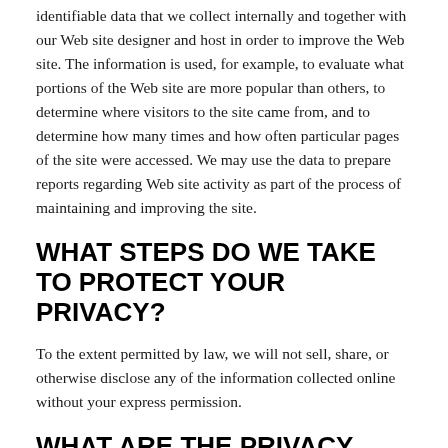identifiable data that we collect internally and together with our Web site designer and host in order to improve the Web site. The information is used, for example, to evaluate what portions of the Web site are more popular than others, to determine where visitors to the site came from, and to determine how many times and how often particular pages of the site were accessed. We may use the data to prepare reports regarding Web site activity as part of the process of maintaining and improving the site.
WHAT STEPS DO WE TAKE TO PROTECT YOUR PRIVACY?
To the extent permitted by law, we will not sell, share, or otherwise disclose any of the information collected online without your express permission.
WHAT ARE THE PRIVACY